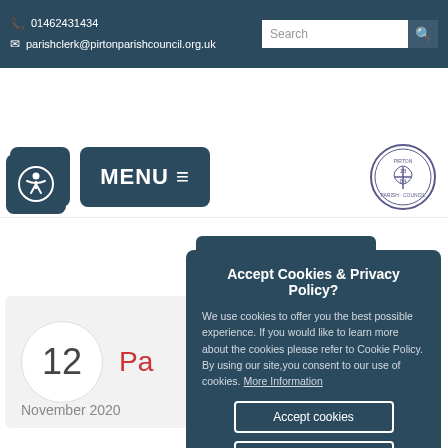01462431434 | parishclerk@pirtonparishcouncil.org.uk
[Figure (screenshot): Website navigation bar with speaker/audio button, MENU button with hamburger icon, and Pirton Parish Council logo on the right]
[Figure (screenshot): Accessibility button (person in circle icon)]
[Figure (screenshot): Blue tab partial header]
[Figure (screenshot): Calendar card showing date 12, partial title starting with 'Pa', date November 2020]
Accept Cookies & Privacy Policy?

We use cookies to offer you the best possible experience. If you would like to learn more about the cookies please refer to Cookie Policy. By using our site,you consent to our use of cookies. More Information

Accept cookies

Customise cookies